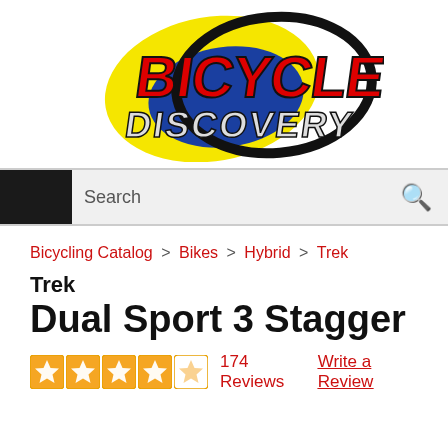[Figure (logo): Bicycle Discovery logo with red text, yellow and blue swoosh, black tire outline]
Search
Bicycling Catalog > Bikes > Hybrid > Trek
Trek
Dual Sport 3 Stagger
174 Reviews   Write a Review